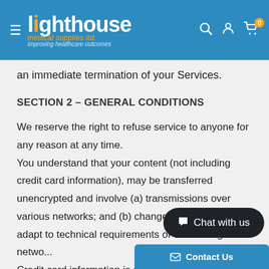lighthouse medical supplies ltd. — improving healthcare outcomes
an immediate termination of your Services.
SECTION 2 – GENERAL CONDITIONS
We reserve the right to refuse service to anyone for any reason at any time.
You understand that your content (not including credit card information), may be transferred unencrypted and involve (a) transmissions over various networks; and (b) changes to conform and adapt to technical requirements of connecting networks.
Credit card information is always en...